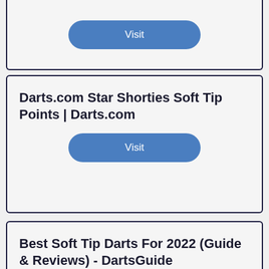[Figure (screenshot): Top card (partial, cropped at top) showing a Visit button on a light grey card with dark navy border]
Visit
Darts.com Star Shorties Soft Tip Points | Darts.com
Visit
Best Soft Tip Darts For 2022 (Guide & Reviews) - DartsGuide